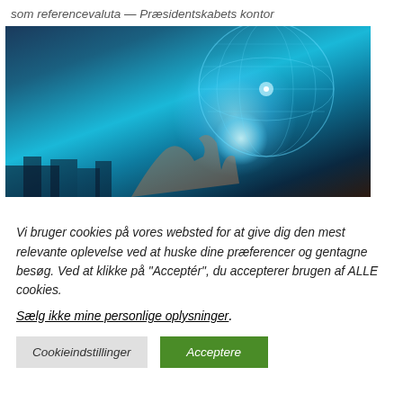som referencevaluta — Præsidentskabets kontor
[Figure (photo): Blue-toned futuristic image of a digital globe/sphere with glowing network lines, a hand reaching toward it, city skyline in background — technology/crypto themed image]
Vi bruger cookies på vores websted for at give dig den mest relevante oplevelse ved at huske dine præferencer og gentagne besøg. Ved at klikke på "Acceptér", du accepterer brugen af ALLE cookies.
Sælg ikke mine personlige oplysninger.
Cookieindstillinger
Acceptere